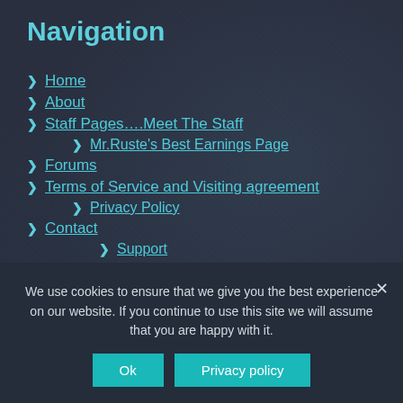Navigation
Home
About
Staff Pages….Meet The Staff
Mr.Ruste's Best Earnings Page
Forums
Terms of Service and Visiting agreement
Privacy Policy
Contact
Support
Contact the Creator
Need Webmaster Services?
Become A Supporter
We use cookies to ensure that we give you the best experience on our website. If you continue to use this site we will assume that you are happy with it.